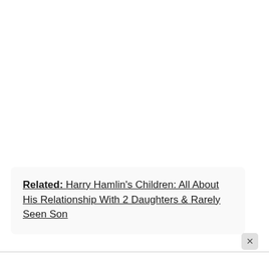Related: Harry Hamlin's Children: All About His Relationship With 2 Daughters & Rarely Seen Son